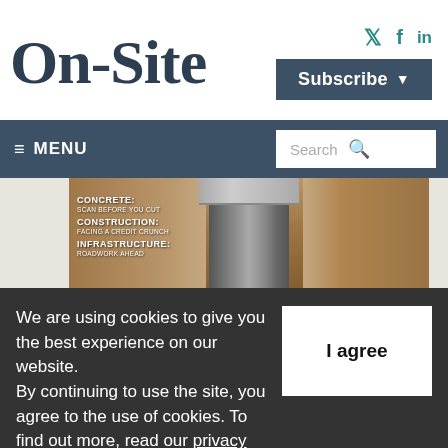On-Site
[Figure (logo): Social media icons: Twitter (bird), Facebook (f), LinkedIn (in) in teal color]
[Figure (screenshot): Subscribe button with dropdown arrow on dark blue-grey background]
[Figure (screenshot): Navigation bar with hamburger menu (MENU) on left and Search box on right]
[Figure (photo): Magazine cover showing a metal pipe in a trench with soil on both sides. Text overlays: CONCRETE: SCAN BEFORE YOU CUT, CONSTRUCTION: FACING A CREDIT CRUNCH, INFRASTRUCTURE: ROADWORK AHEAD. Bottom text: DIGGING]
We are using cookies to give you the best experience on our website. By continuing to use the site, you agree to the use of cookies. To find out more, read our privacy policy.
[Figure (screenshot): I agree button (white on dark background)]